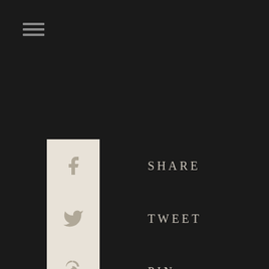[Figure (infographic): Hamburger menu icon with three horizontal lines]
SHARE
TWEET
PIN
EMAIL
ADD A COMMENT